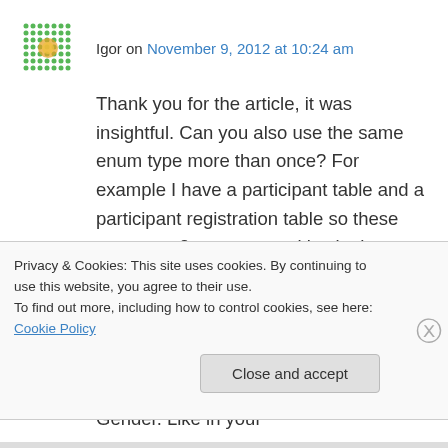Igor on November 9, 2012 at 10:24 am
Thank you for the article, it was insightful. Can you also use the same enum type more than once? For example I have a participant table and a participant registration table so these represent 2 separate entities in the designer and are mapped respectively to the 2 separate tables I just mentioned. They both have a byte (tinyint) field named Gender and I have an existing enumeration also called Gender. Like in your
Privacy & Cookies: This site uses cookies. By continuing to use this website, you agree to their use. To find out more, including how to control cookies, see here: Cookie Policy